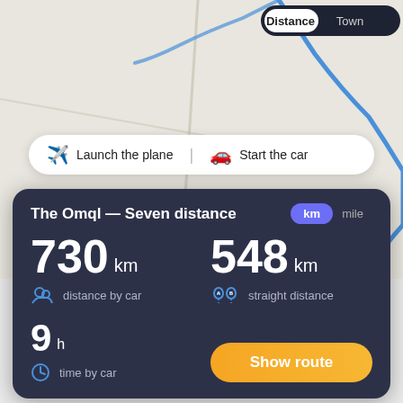[Figure (map): Map background showing roads and terrain with blue route line, toggle buttons for Distance and Town in top right]
Launch the plane   Start the car
The Omql — Seven distance
730 km distance by car
548 km straight distance
9 h time by car
Show route